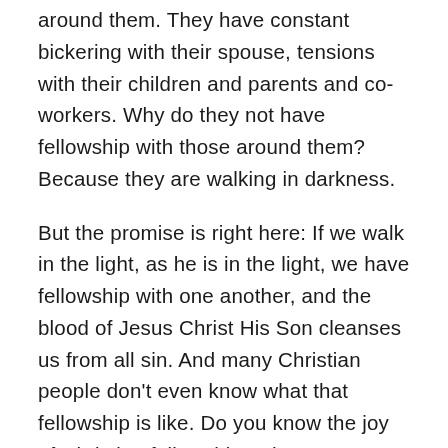around them. They have constant bickering with their spouse, tensions with their children and parents and co-workers. Why do they not have fellowship with those around them? Because they are walking in darkness.
But the promise is right here: If we walk in the light, as he is in the light, we have fellowship with one another, and the blood of Jesus Christ His Son cleanses us from all sin. And many Christian people don't even know what that fellowship is like. Do you know the joy of Christian fellowship? The peace? The glorious freedom of having no secrets, no bitterness, nothing to hide? Many people have